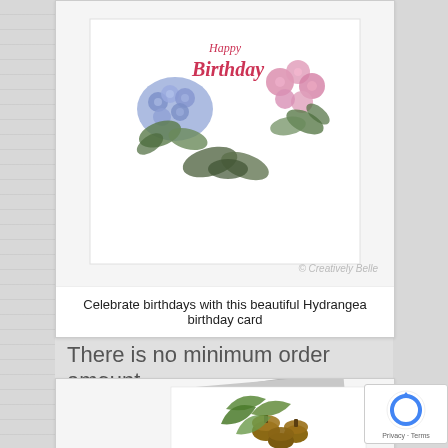[Figure (photo): Birthday card with watercolor hydrangea and pink flowers wreath with 'Happy Birthday' text in red cursive, shown as a white greeting card]
Celebrate birthdays with this beautiful Hydrangea birthday card
There is no minimum order amount.
[Figure (photo): Greeting card with acorns and green oak leaves watercolor illustration, shown partially with a gray card behind it]